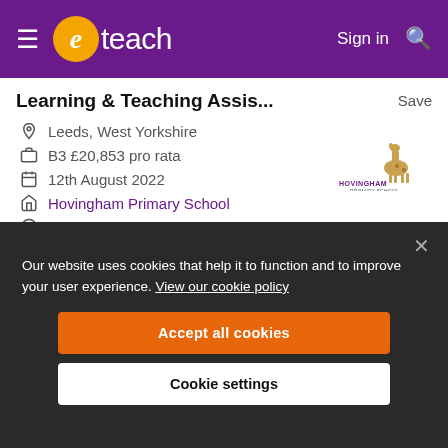eteach — Sign in
Learning & Teaching Assis...
Save
Leeds, West Yorkshire
B3 £20,853 pro rata
12th August 2022
Hovingham Primary School
Permanent
[Figure (logo): Hovingham Primary School logo with giraffe illustration]
Our website uses cookies that help it to function and to improve your user experience. View our cookie policy
Accept all cookies
Cookie settings